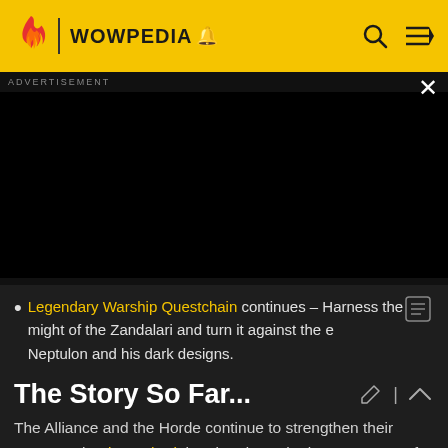WOWPEDIA
[Figure (screenshot): Black advertisement panel on dark background with ADVERTISEMENT label and X close button]
Legendary Warship Questchain continues – Harness the might of the Zandalari and turn it against the e Neptulon and his dark designs.
The Story So Far...
The Alliance and the Horde continue to strengthen their presence in Zin-Azshari, hunting down the last remnants of Azshara's forces and dealing with the other challenges